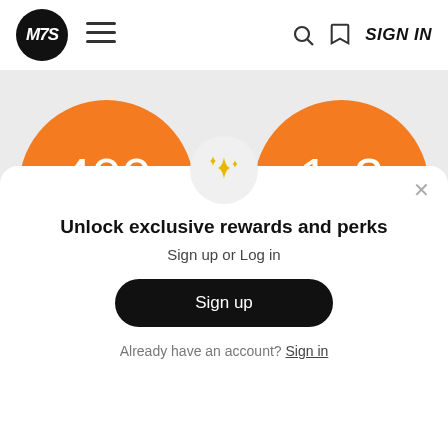[Figure (logo): MBS logo in black circle with white italic text, followed by hamburger menu icon, search icon, bookmark icon, and SIGN IN text in header navigation bar]
[Figure (infographic): Two orange circles: left shows '400 points', right shows '1 UP TO 2 points']
[Figure (illustration): Gold sparkle/star icon inside a light gray circle]
Unlock exclusive rewards and perks
Sign up or Log in
Sign up
Already have an account? Sign in